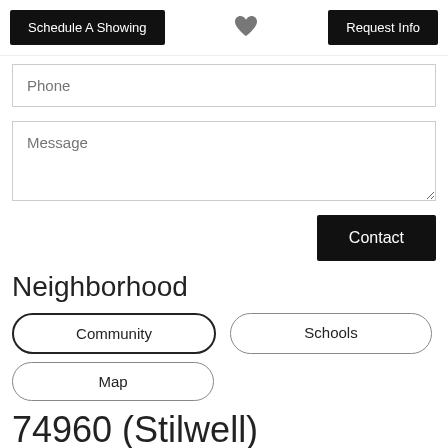Schedule A Showing | [heart icon] | Request Info
Phone
Message
Contact
Neighborhood
Community
Schools
Map
74960 (Stilwell)